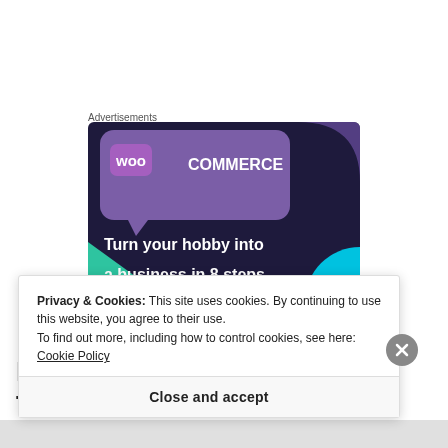Advertisements
[Figure (illustration): WooCommerce advertisement banner showing purple/dark navy background with WooCommerce logo (purple speech bubble with 'woo' and 'COMMERCE' text), teal triangle shape bottom-left, cyan arc bottom-right, and white bold text reading 'Turn your hobby into a business in 8 steps']
Privacy & Cookies: This site uses cookies. By continuing to use this website, you agree to their use.
To find out more, including how to control cookies, see here: Cookie Policy
Close and accept